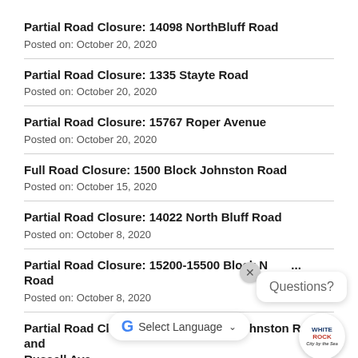Partial Road Closure: 14098 NorthBluff Road
Posted on: October 20, 2020
Partial Road Closure: 1335 Stayte Road
Posted on: October 20, 2020
Partial Road Closure: 15767 Roper Avenue
Posted on: October 20, 2020
Full Road Closure: 1500 Block Johnston Road
Posted on: October 15, 2020
Partial Road Closure: 14022 North Bluff Road
Posted on: October 8, 2020
Partial Road Closure: 15200-15500 Block M... Road
Posted on: October 8, 2020
Partial Road Closure: Intersection of Johnston Rd. and Russell Ave.